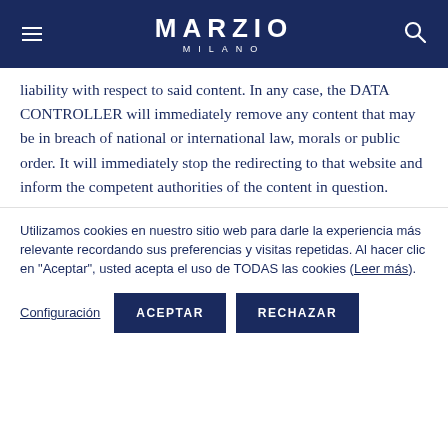MARZIO MILANO
liability with respect to said content. In any case, the DATA CONTROLLER will immediately remove any content that may be in breach of national or international law, morals or public order. It will immediately stop the redirecting to that website and inform the competent authorities of the content in question.
Utilizamos cookies en nuestro sitio web para darle la experiencia más relevante recordando sus preferencias y visitas repetidas. Al hacer clic en "Aceptar", usted acepta el uso de TODAS las cookies (Leer más).
Configuración  ACEPTAR  RECHAZAR